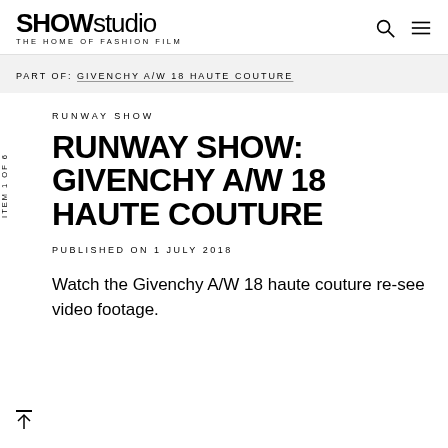SHOWstudio THE HOME OF FASHION FILM
PART OF: GIVENCHY A/W 18 HAUTE COUTURE
RUNWAY SHOW
RUNWAY SHOW: GIVENCHY A/W 18 HAUTE COUTURE
PUBLISHED ON 1 JULY 2018
Watch the Givenchy A/W 18 haute couture re-see video footage.
ITEM 1 OF 6